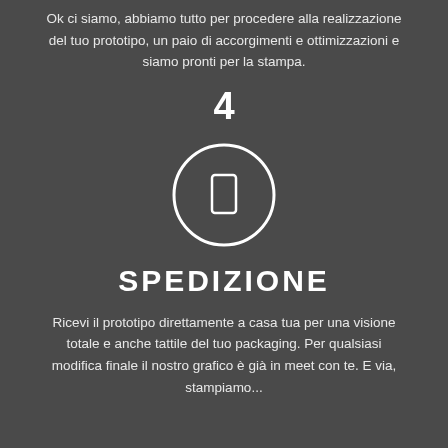Ok ci siamo, abbiamo tutto per procedere alla realizzazione del tuo prototipo, un paio di accorgimenti e ottimizzazioni e siamo pronti per la stampa.
4
[Figure (illustration): A white circle outline containing a small white rectangle icon (representing a mobile device or package), on a dark grey background.]
SPEDIZIONE
Ricevi il prototipo direttamente a casa tua per una visione totale e anche tattile del tuo packaging. Per qualsiasi modifica finale il nostro grafico è già in meet con te. E via, stampiamo...